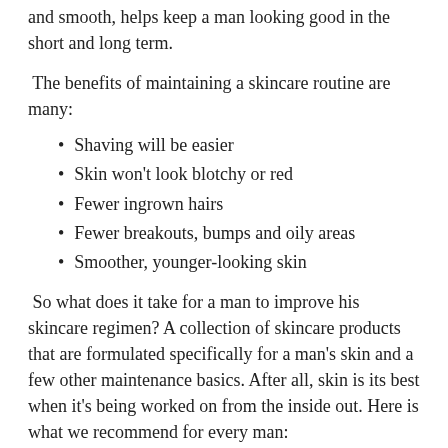and smooth, helps keep a man looking good in the short and long term.
The benefits of maintaining a skincare routine are many:
Shaving will be easier
Skin won't look blotchy or red
Fewer ingrown hairs
Fewer breakouts, bumps and oily areas
Smoother, younger-looking skin
So what does it take for a man to improve his skincare regimen? A collection of skincare products that are formulated specifically for a man's skin and a few other maintenance basics. After all, skin is its best when it's being worked on from the inside out. Here is what we recommend for every man: